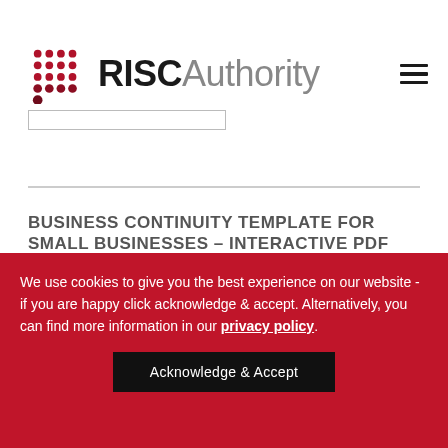RISC Authority
BUSINESS CONTINUITY TEMPLATE FOR SMALL BUSINESSES – INTERACTIVE PDF
We use cookies to give you the best experience on our website - if you are happy click acknowledge & accept. Alternatively, you can find more information in our privacy policy.
Acknowledge & Accept